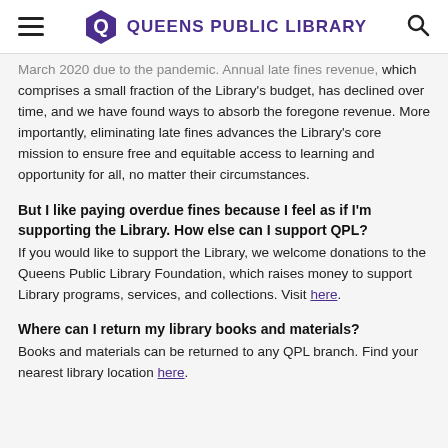QUEENS PUBLIC LIBRARY
March 2020 due to the pandemic. Annual late fines revenue, which comprises a small fraction of the Library's budget, has declined over time, and we have found ways to absorb the foregone revenue. More importantly, eliminating late fines advances the Library's core mission to ensure free and equitable access to learning and opportunity for all, no matter their circumstances.
But I like paying overdue fines because I feel as if I'm supporting the Library. How else can I support QPL?
If you would like to support the Library, we welcome donations to the Queens Public Library Foundation, which raises money to support Library programs, services, and collections. Visit here.
Where can I return my library books and materials?
Books and materials can be returned to any QPL branch. Find your nearest library location here.